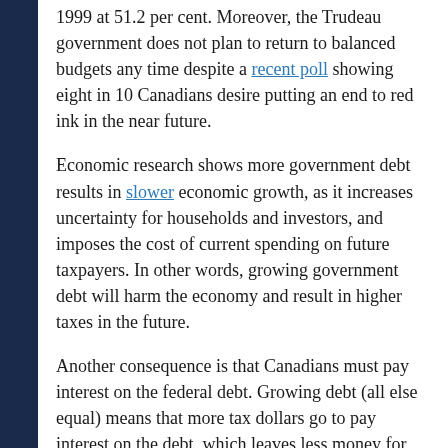1999 at 51.2 per cent. Moreover, the Trudeau government does not plan to return to balanced budgets any time despite a recent poll showing eight in 10 Canadians desire putting an end to red ink in the near future.
Economic research shows more government debt results in slower economic growth, as it increases uncertainty for households and investors, and imposes the cost of current spending on future taxpayers. In other words, growing government debt will harm the economy and result in higher taxes in the future.
Another consequence is that Canadians must pay interest on the federal debt. Growing debt (all else equal) means that more tax dollars go to pay interest on the debt, which leaves less money for important items such as health care, social services and/or tax relief in the future.
Budget 2021 also lacks an effective strategy for economic recovery. While there are several big ticket items, such as stimulus and national daycare, all these measures are expensive and empirical research shows that stimulus in recessions is unlikely to have effective outcomes in a recovery.